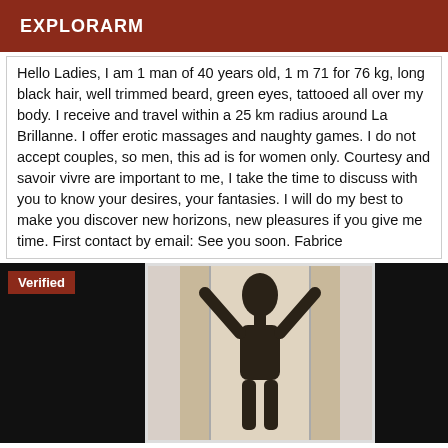EXPLORARM
Hello Ladies, I am 1 man of 40 years old, 1 m 71 for 76 kg, long black hair, well trimmed beard, green eyes, tattooed all over my body. I receive and travel within a 25 km radius around La Brillanne. I offer erotic massages and naughty games. I do not accept couples, so men, this ad is for women only. Courtesy and savoir vivre are important to me, I take the time to discuss with you to know your desires, your fantasies. I will do my best to make you discover new horizons, new pleasures if you give me time. First contact by email: See you soon. Fabrice
[Figure (photo): Photo with dark panels on left and right, and a center backlit image showing the silhouette of a person with arms raised, with a 'Verified' badge in the top-left corner on a dark red background.]